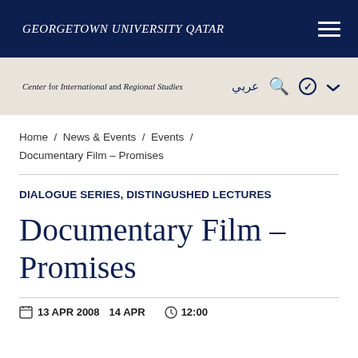GEORGETOWN UNIVERSITY QATAR
Center for International and Regional Studies  عربي
Home / News & Events / Events / Documentary Film – Promises
DIALOGUE SERIES, DISTINGUSHED LECTURES
Documentary Film – Promises
13 APR 2008  14 APR  12:00